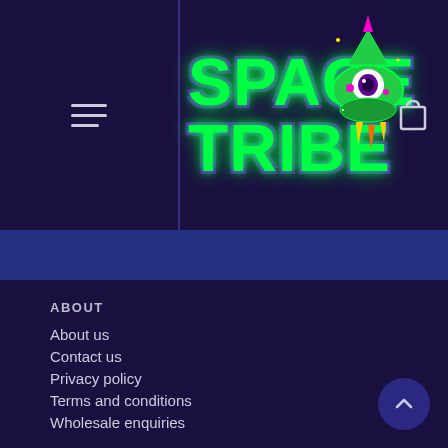SPACE TRIBE — navigation header with hamburger menu and shopping cart icon
[Figure (logo): Space Tribe logo with green neon text 'SPACE TRIBE' and UFO/rocket illustration with eye]
ABOUT
About us
Contact us
Privacy policy
Terms and conditions
Wholesale enquiries
CUSTOMER SUPPORT
FAQ
Shipping & delivery